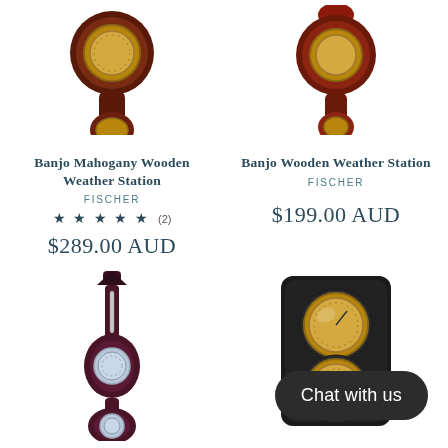[Figure (photo): Banjo Mahogany Wooden Weather Station product image (top portion cut off) - dark mahogany wood with brass dial]
[Figure (photo): Banjo Wooden Weather Station product image (top portion cut off) - dark reddish wood with brass dial]
Banjo Mahogany Wooden Weather Station
FISCHER
★ ★ ★ ★ ★ (2)
$289.00 AUD
Banjo Wooden Weather Station
FISCHER
$199.00 AUD
[Figure (photo): Slim banjo-style wooden weather station in dark purple/mahogany with thermometer and barometer dials]
[Figure (photo): Black rectangular weather station with two large round brass instrument dials]
Chat with us